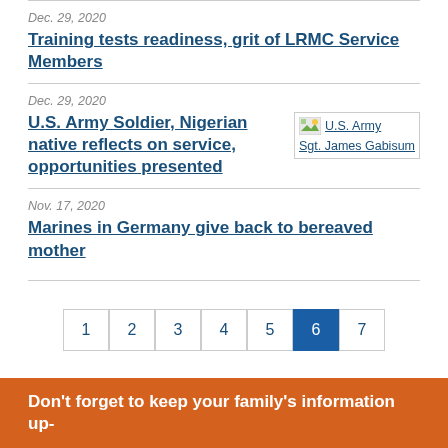Dec. 29, 2020
Training tests readiness, grit of LRMC Service Members
Dec. 29, 2020
U.S. Army Soldier, Nigerian native reflects on service, opportunities presented
[Figure (photo): U.S. Army Sgt. James Gabisum thumbnail image]
Nov. 17, 2020
Marines in Germany give back to bereaved mother
Pagination: 1 2 3 4 5 6 7, current page 6
Don't forget to keep your family's information up-